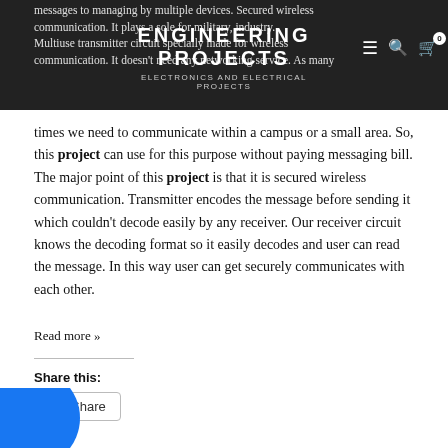ENGINEERING PROJECTS
ELECTRONICS AND ELECTRICAL PROJECTS
messages to managing by multiple devices. Secured wireless communication. It plays a sole for military, industry. Multiuse transmitter circuit specially made for wireless communication. It doesn't need any networking service. As many times we need to communicate within a campus or a small area. So, this project can use for this purpose without paying messaging bill. The major point of this project is that it is secured wireless communication. Transmitter encodes the message before sending it which couldn't decode easily by any receiver. Our receiver circuit knows the decoding format so it easily decodes and user can read the message. In this way user can get securely communicates with each other.
Read more »
Share this:
[Figure (other): Share button with share icon]